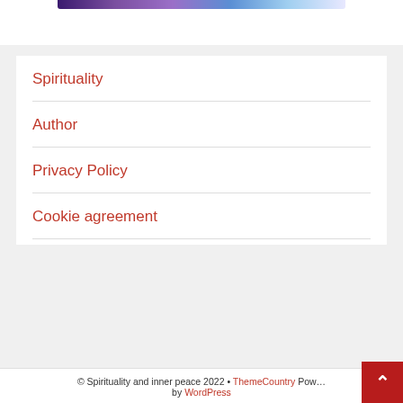[Figure (photo): Partial view of a cosmic/galaxy themed banner image at the top]
Spirituality
Author
Privacy Policy
Cookie agreement
© Spirituality and inner peace 2022 • ThemeCountry Powered by WordPress